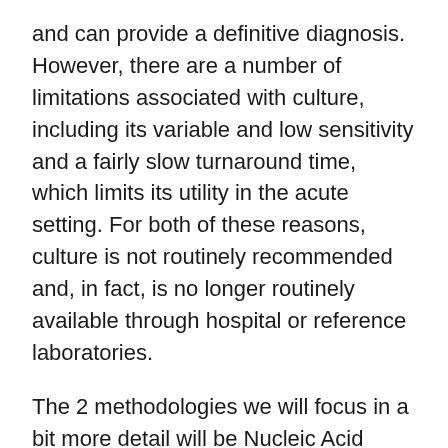and can provide a definitive diagnosis. However, there are a number of limitations associated with culture, including its variable and low sensitivity and a fairly slow turnaround time, which limits its utility in the acute setting. For both of these reasons, culture is not routinely recommended and, in fact, is no longer routinely available through hospital or reference laboratories.
The 2 methodologies we will focus in a bit more detail will be Nucleic Acid Amplification Tests or NAATs, and Lyme disease serology.
Lyme Disease Laboratory Diagnosis: Molecular
The molecular assay offered through Mayo Medical